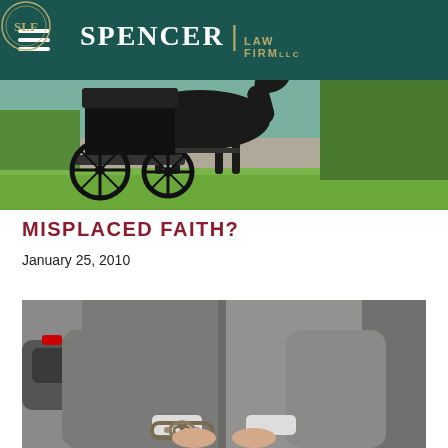[Figure (photo): Spencer Law Firm website header with navigation hamburger menu, SLF logo in a decorative circle, Spencer Law Firm LLC text in gold and white on dark teal background, overlaid on a photo of a horse-drawn Amish buggy on a road with green grass in background]
MISPLACED FAITH?
January 25, 2010
[Figure (photo): A man in a gray suit with hands handcuffed behind his back, police car visible in background, viewed from behind]